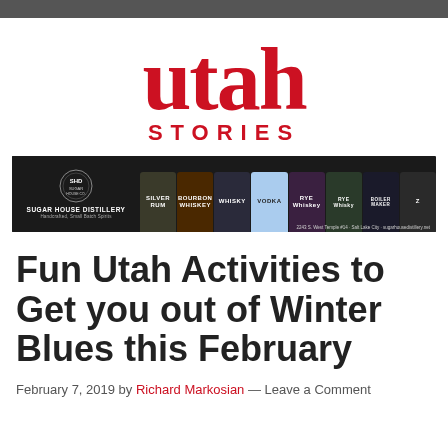utah STORIES
[Figure (photo): Sugar House Distillery advertisement banner showing bottles of Silver Rum, Bourbon Whiskey, Whisky, Vodka, Rye Whiskey, Rye Whisky, Boilermaker Series, with logo and address: 2243 S. West Temple #14 · Salt Lake City · sugarhousedistillery.net]
Fun Utah Activities to Get you out of Winter Blues this February
February 7, 2019 by Richard Markosian — Leave a Comment